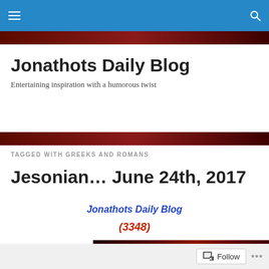Jonathots Daily Blog — navigation bar
Jonathots Daily Blog
Entertaining inspiration with a humorous twist
TAGGED WITH GREEKS AND ROMANS
Jesonian… June 24th, 2017
Jonathots Daily Blog
(3348)
[Figure (photo): Dark reddish-brown textured image at the bottom of the article preview]
Follow